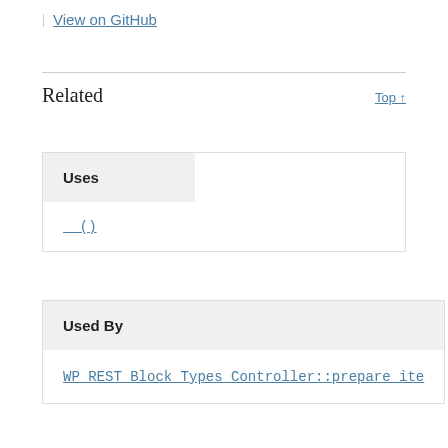| View on GitHub
Related
| Uses |  |
| --- | --- |
| __() |  |
| Used By |
| --- |
| WP_REST_Block_Types_Controller::prepare_ite |